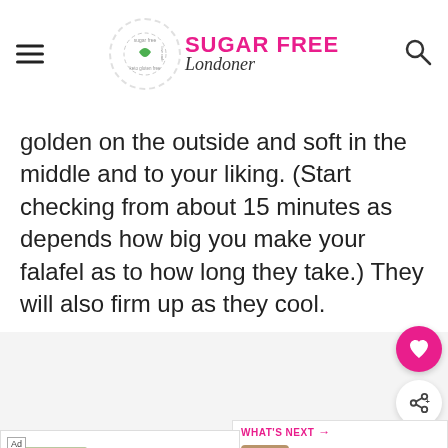Sugar Free Londoner
golden on the outside and soft in the middle and to your liking. (Start checking from about 15 minutes as depends how big you make your falafel as to how long they take.) They will also firm up as they cool.
[Figure (screenshot): What's Next panel showing Low Carb Keto Peanut Butt... thumbnail]
[Figure (screenshot): Ad banner: How To Empty Your Bowels Ea... by Gut Connect with Learn More link]